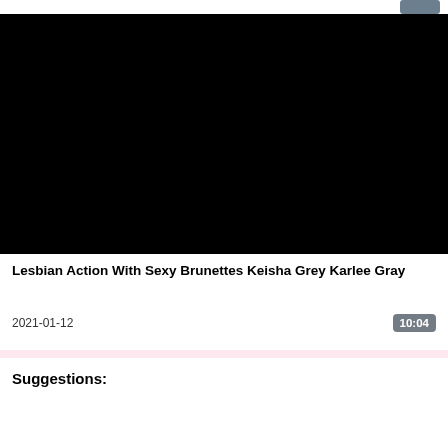[Figure (screenshot): Black video thumbnail/player area]
Lesbian Action With Sexy Brunettes Keisha Grey Karlee Gray
2021-01-12
10:04
Suggestions: